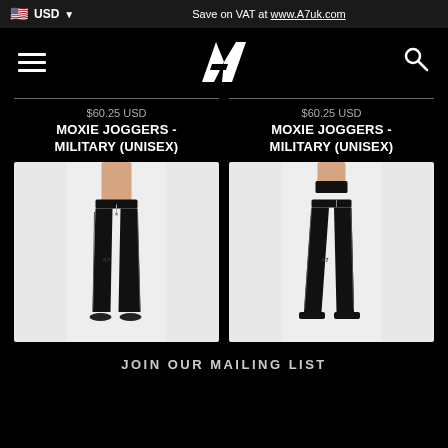USD  Save on VAT at www.A7uk.com
[Figure (logo): A7 brand logo - white stylized A7 lettermark on black background]
$60.25 USD
MOXIE JOGGERS - MILITARY (UNISEX)
$60.25 USD
MOXIE JOGGERS - MILITARY (UNISEX)
[Figure (photo): Male model wearing black Moxie Joggers military unisex, shown from waist down on white background]
[Figure (photo): Female model wearing black Moxie Joggers military unisex, shown from waist down on white background]
JOIN OUR MAILING LIST